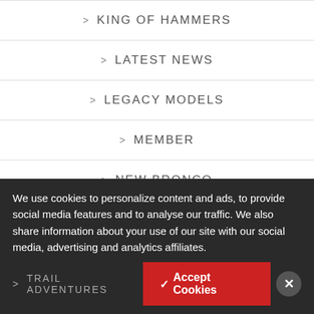> KING OF HAMMERS
> LATEST NEWS
> LEGACY MODELS
> MEMBER
> NEW BRONCO
> OFF-ROADEO
> TRAIL ADVENTURES
We use cookies to personalize content and ads, to provide social media features and to analyse our traffic. We also share information about your use of our site with our social media, advertising and analytics affiliates.
✓ Accept Cookies